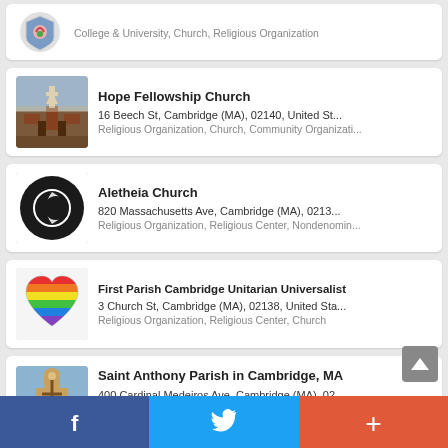College & University, Church, Religious Organization
Hope Fellowship Church
16 Beech St, Cambridge (MA), 02140, United St...
Religious Organization, Church, Community Organizati...
Aletheia Church
820 Massachusetts Ave, Cambridge (MA), 0213...
Religious Organization, Religious Center, Nondenomin...
First Parish Cambridge Unitarian Universalist
3 Church St, Cambridge (MA), 02138, United Sta...
Religious Organization, Religious Center, Church
Saint Anthony Parish in Cambridge, MA
400 Cardinal Medeiros Ave, Cambridge (MA), 02...
Religious Organization, Catholic Church